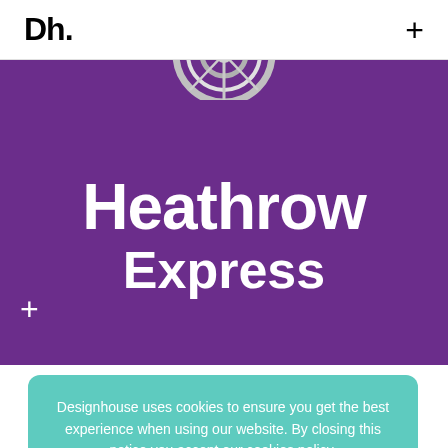Dh.   +
[Figure (illustration): Purple hero banner with a partial silver wheel/ring graphic at top and 'Heathrow Express' text in large white bold font, with a white + symbol on the left side]
Designhouse uses cookies to ensure you get the best experience when using our website. By closing this notice you accept our cookies policy.
Close